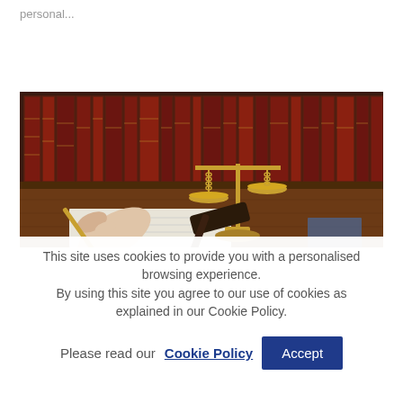personal...
[Figure (photo): A hand holding a pen writing on a document, with golden scales of justice and a judge's gavel on a wooden desk, bookshelves with law books in the background.]
This site uses cookies to provide you with a personalised browsing experience.
By using this site you agree to our use of cookies as explained in our Cookie Policy.
Please read our Cookie Policy. Accept